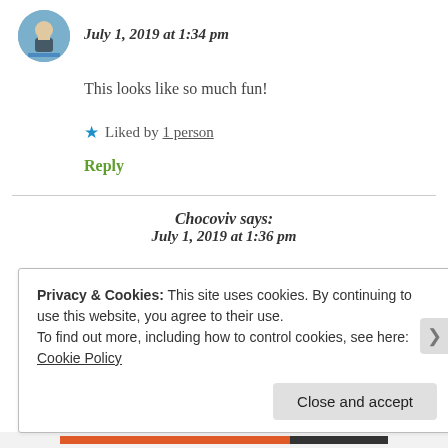[Figure (photo): Circular avatar image of a person in a swimsuit near water]
July 1, 2019 at 1:34 pm
This looks like so much fun!
★ Liked by 1 person
Reply
Chocoviv says:
July 1, 2019 at 1:36 pm
Privacy & Cookies: This site uses cookies. By continuing to use this website, you agree to their use.
To find out more, including how to control cookies, see here: Cookie Policy
Close and accept